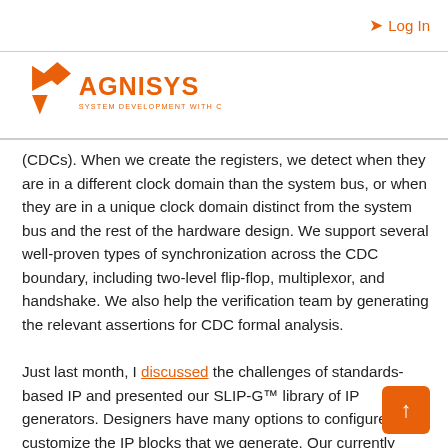Log In
[Figure (logo): Agnisys logo with orange geometric shapes and text 'AGNISYS SYSTEM DEVELOPMENT WITH CERTAINTY']
(CDCs). When we create the registers, we detect when they are in a different clock domain than the system bus, or when they are in a unique clock domain distinct from the system bus and the rest of the hardware design. We support several well-proven types of synchronization across the CDC boundary, including two-level flip-flop, multiplexor, and handshake. We also help the verification team by generating the relevant assertions for CDC formal analysis.
Just last month, I discussed the challenges of standards-based IP and presented our SLIP-G™ library of IP generators. Designers have many options to configure and customize the IP blocks that we generate. Our currently supported standards include General Purpose Input/Output (GPIO), I2C, Timer, Programmable Interrupt Controller (PIC), Direct Memory...